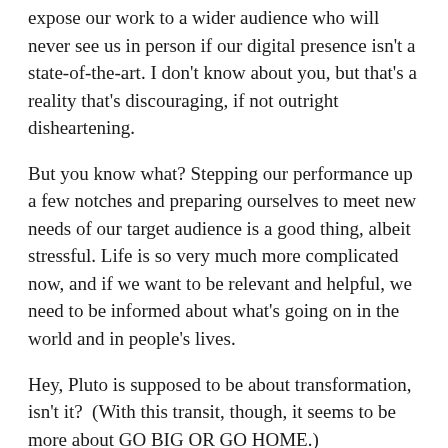expose our work to a wider audience who will never see us in person if our digital presence isn't a state-of-the-art. I don't know about you, but that's a reality that's discouraging, if not outright disheartening.
But you know what? Stepping our performance up a few notches and preparing ourselves to meet new needs of our target audience is a good thing, albeit stressful. Life is so very much more complicated now, and if we want to be relevant and helpful, we need to be informed about what's going on in the world and in people's lives.
Hey, Pluto is supposed to be about transformation, isn't it?  (With this transit, though, it seems to be more about GO BIG OR GO HOME.)
There's no doubt that some of us are using Pluto in